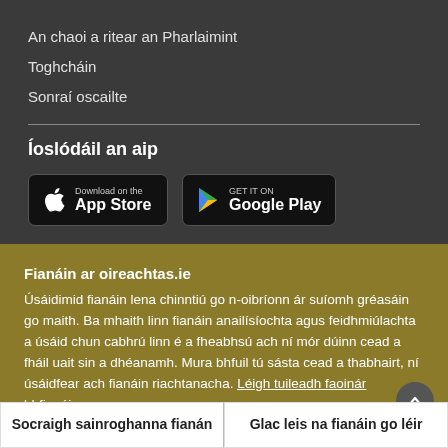An chaoi a ritear an Pharlaimint
Toghcháin
Sonraí oscailte
Íoslódáil an aip
[Figure (screenshot): Download on the App Store and GET IT ON Google Play buttons]
Fianáin ar oireachtas.ie
Úsáidimid fianáin lena chinntiú go n-oibríonn ár suíomh gréasáin go maith. Ba mhaith linn fianáin anailísíochta agus feidhmiúlachta a úsáid chun cabhrú linn é a fheabhsú ach ní mór dúinn cead a fháil uait sin a dhéanamh. Mura bhfuil tú sásta cead a thabhairt, ní úsáidfear ach fianáin riachtanacha. Léigh tuileadh faoinár bhfianáin
Socraigh sainroghanna fianán
Glac leis na fianáin go léir